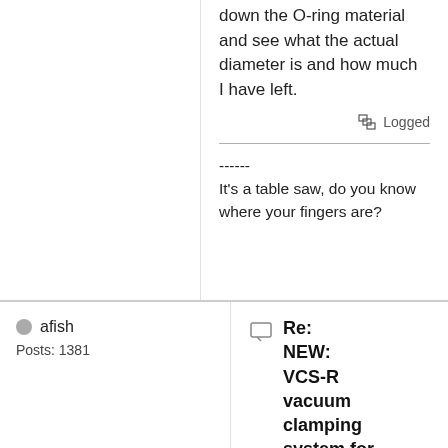down the O-ring material and see what the actual diameter is and how much I have left.
Logged
------
It's a table saw, do you know where your fingers are?
afish
Posts: 1381
Re: NEW: VCS-R vacuum clamping system for Festool guide rail